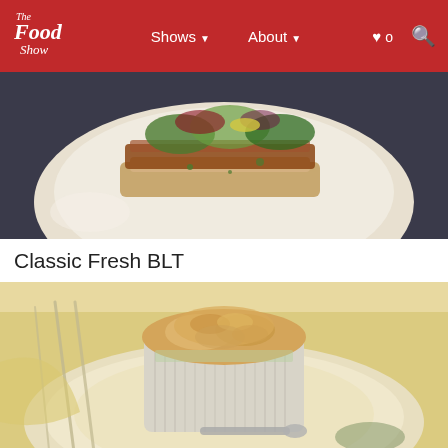The Food Show — Shows ▾  About ▾  ♥ 0  🔍
[Figure (photo): Close-up photo of a Classic Fresh BLT sandwich on a white plate with salad greens and microgreens on top.]
Classic Fresh BLT
[Figure (photo): Photo of Swiss Chard and Feta Pies in a fluted ramekin on a yellow plate with cutlery and napkin.]
Swiss Chard and Feta Pies
[Figure (photo): Partial view of a third food photo at the bottom of the page.]